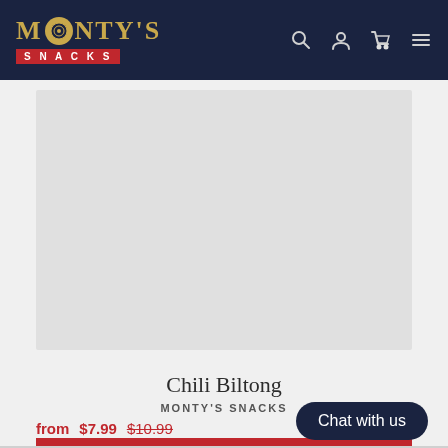MONTY'S SNACKS
[Figure (photo): Product image placeholder — light gray rectangle showing product area for Chili Biltong]
Chili Biltong
MONTY'S SNACKS
from $7.99  $10.99
SALE
Chat with us